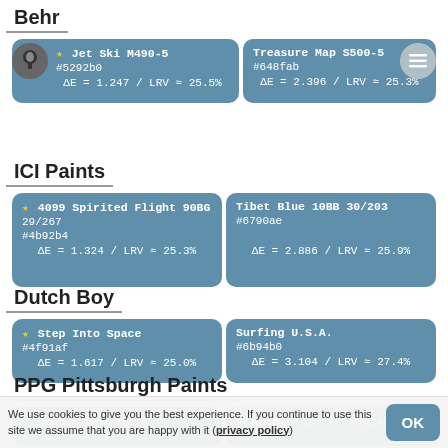Behr
| Jet Ski M490-5
#5292b0
ΔE = 1.247 / LRV ≈ 25.5% | Treasure Map S500-5
#648fab
ΔE = 2.396 / LRV ≈ 25.3% |
ICI Paints
| ★ 4099 Spirited Flight 90BG 29/267
#4b92b4
ΔE = 1.324 / LRV ≈ 25.3% | Tibet Blue 10BB 30/203
#6790ae
ΔE = 2.886 / LRV ≈ 25.9% |
Dutch Boy
| ★ Step Into Space
#4f91af
ΔE = 1.617 / LRV ≈ 25.0% | Surfing U.S.A.
#6b94b0
ΔE = 3.104 / LRV ≈ 27.4% |
PPG Pittsburgh Paints
| ★ Hush A Bye 252-5 | ★ Hush-A-Bye / PPG1238-5 |
We use cookies to give you the best experience. If you continue to use this site we assume that you are happy with it (privacy policy)